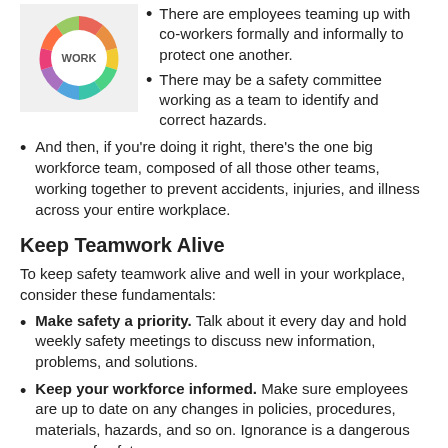[Figure (logo): Colorful circular logo with figures forming a ring, text 'WORK' in center]
There are employees teaming up with co-workers formally and informally to protect one another.
There may be a safety committee working as a team to identify and correct hazards.
And then, if you're doing it right, there's the one big workforce team, composed of all those other teams, working together to prevent accidents, injuries, and illness across your entire workplace.
Keep Teamwork Alive
To keep safety teamwork alive and well in your workplace, consider these fundamentals:
Make safety a priority. Talk about it every day and hold weekly safety meetings to discuss new information, problems, and solutions.
Keep your workforce informed. Make sure employees are up to date on any changes in policies, procedures, materials, hazards, and so on. Ignorance is a dangerous enemy of safety.
Provide excellent training. Demonstrate, discuss, practice, and review. Drills, skill building, and knowledge...